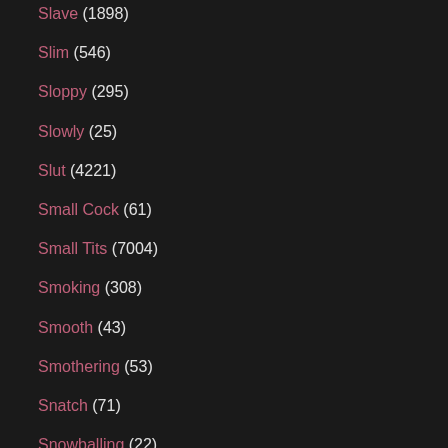Slave (1898)
Slim (546)
Sloppy (295)
Slowly (25)
Slut (4221)
Small Cock (61)
Small Tits (7004)
Smoking (308)
Smooth (43)
Smothering (53)
Snatch (71)
Snowballing (22)
Soapy (25)
Soccer (27)
Socks (150)
Sodomized (42)